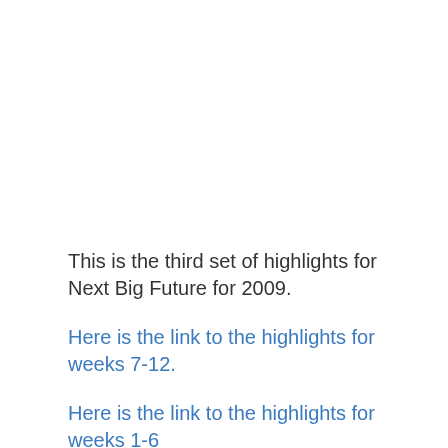This is the third set of highlights for Next Big Future for 2009.
Here is the link to the highlights for weeks 7-12.
Here is the link to the highlights for weeks 1-6
Nanotechnology